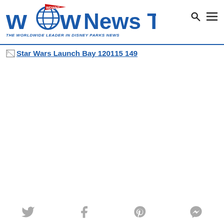WDW News Today — THE WORLDWIDE LEADER IN DISNEY PARKS NEWS
[Figure (screenshot): Broken image placeholder with link text: Star Wars Launch Bay 120115 149]
Social share icons: Twitter, Facebook, Pinterest, Messenger